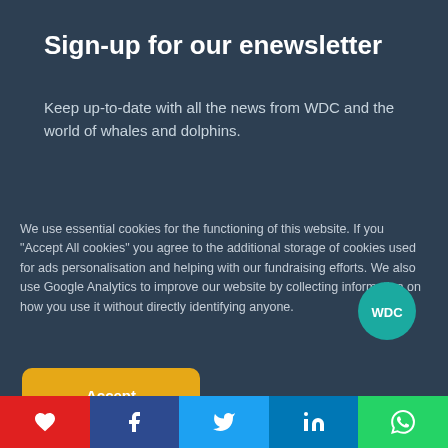Sign-up for our enewsletter
Keep up-to-date with all the news from WDC and the world of whales and dolphins.
We use essential cookies for the functioning of this website. If you "Accept All cookies" you agree to the additional storage of cookies used for ads personalisation and helping with our fundraising efforts. We also use Google Analytics to improve our website by collecting information on how you use it without directly identifying anyone.
Accept
No thanks
Choose preferences